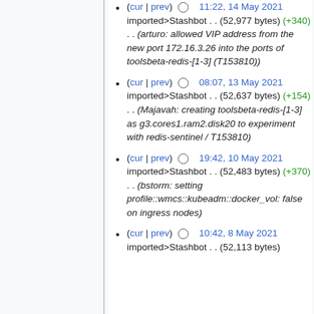(cur | prev) 11:22, 14 May 2021 imported>Stashbot . . (52,977 bytes) (+340) . . (arturo: allowed VIP address from the new port 172.16.3.26 into the ports of toolsbeta-redis-[1-3] (T153810))
(cur | prev) 08:07, 13 May 2021 imported>Stashbot . . (52,637 bytes) (+154) . . (Majavah: creating toolsbeta-redis-[1-3] as g3.cores1.ram2.disk20 to experiment with redis-sentinel / T153810)
(cur | prev) 19:42, 10 May 2021 imported>Stashbot . . (52,483 bytes) (+370) . . (bstorm: setting profile::wmcs::kubeadm::docker_vol: false on ingress nodes)
(cur | prev) 10:42, 8 May 2021 imported>Stashbot . . (52,113 bytes)